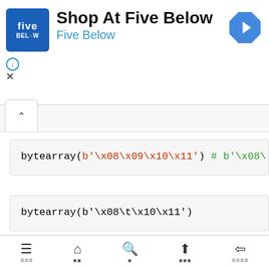[Figure (screenshot): Five Below advertisement banner with logo, title 'Shop At Five Below', subtitle 'Five Below', and navigation arrow icon]
bytearray(b'\x08\x09\x10\x11') # b'\x08\
bytearray(b'\x08\t\x10\x11')
bytearray(b'a') # b'a'
≡  ⌂  🔍  ↑  ≡